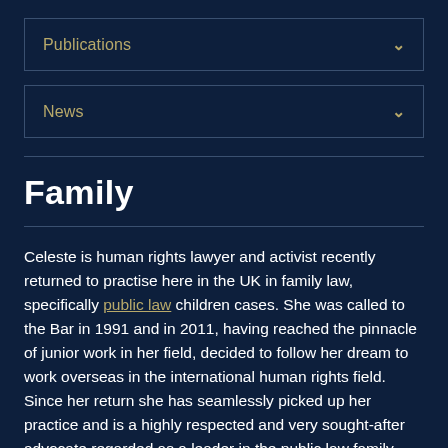Publications
News
Family
Celeste is human rights lawyer and activist recently returned to practise here in the UK in family law, specifically public law children cases. She was called to the Bar in 1991 and in 2011, having reached the pinnacle of junior work in her field, decided to follow her dream to work overseas in the international human rights field. Since her return she has seamlessly picked up her practice and is a highly respected and very sought-after advocate regarded as a leader in the public law family field. She brings a wealth of experience, including experience garnered in the criminal